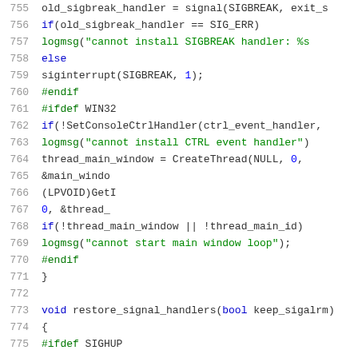[Figure (screenshot): Source code listing showing C/C++ code lines 755-775 with syntax highlighting. Line numbers in gray on left, keywords in blue/green, string literals in green.]